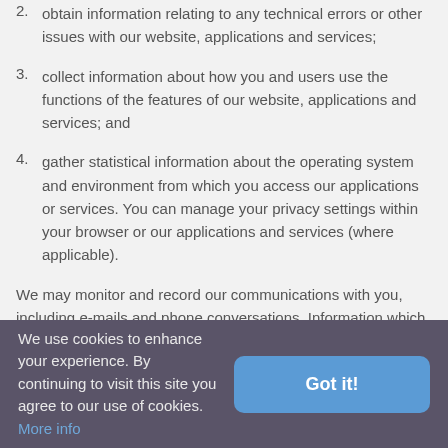2. obtain information relating to any technical errors or other issues with our website, applications and services;
3. collect information about how you and users use the functions of the features of our website, applications and services; and
4. gather statistical information about the operating system and environment from which you access our applications or services. You can manage your privacy settings within your browser or our applications and services (where applicable).
We may monitor and record our communications with you, including e-mails and phone conversations. Information which we collect may then be used for training purposes, quality assurance, to record details about our website, applications and services you order from us or ask us about, and
We use cookies to enhance your experience. By continuing to visit this site you agree to our use of cookies. More info